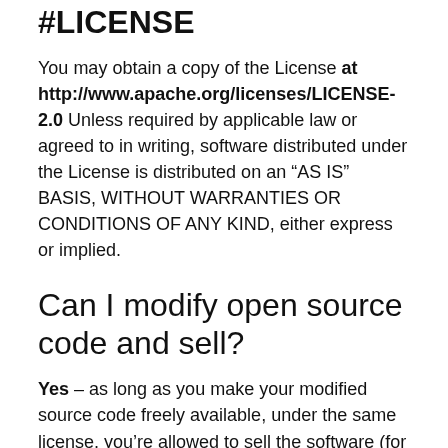#LICENSE
You may obtain a copy of the License at http://www.apache.org/licenses/LICENSE-2.0 Unless required by applicable law or agreed to in writing, software distributed under the License is distributed on an “AS IS” BASIS, WITHOUT WARRANTIES OR CONDITIONS OF ANY KIND, either express or implied.
Can I modify open source code and sell?
Yes – as long as you make your modified source code freely available, under the same license, you’re allowed to sell the software (for example in binary form).